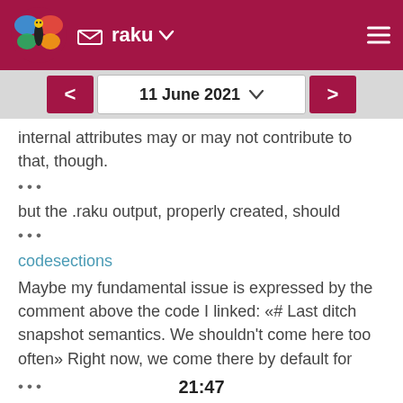raku
internal attributes may or may not contribute to that, though.
•••
but the .raku output, properly created, should
•••
codesections
Maybe my fundamental issue is expressed by the comment above the code I linked: «# Last ditch snapshot semantics. We shouldn't come here too often» Right now, we come there by default for pretty much every user-created type
••• 21:47